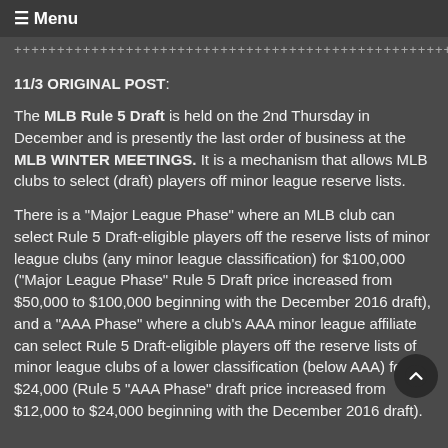≡ Menu
++++++++++++++++++++++++++++++++++++++++++++++++++++
11/3 ORIGINAL POST:
The MLB Rule 5 Draft is held on the 2nd Thursday in December and is presently the last order of business at the MLB WINTER MEETINGS. It is a mechanism that allows MLB clubs to select (draft) players off minor league reserve lists.
There is a "Major League Phase" where an MLB club can select Rule 5 Draft-eligible players off the reserve lists of minor league clubs (any minor league classification) for $100,000 ("Major League Phase" Rule 5 Draft price increased from $50,000 to $100,000 beginning with the December 2016 draft), and a "AAA Phase" where a club's AAA minor league affiliate can select Rule 5 Draft-eligible players off the reserve lists of minor league clubs of a lower classification (below AAA) for $24,000 (Rule 5 "AAA Phase" draft price increased from $12,000 to $24,000 beginning with the December 2016 draft).